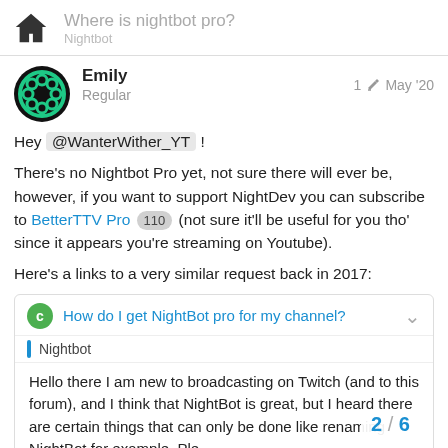Where is nightbot pro?
Emily
Regular
1 May '20
Hey @WanterWither_YT !
There's no Nightbot Pro yet, not sure there will ever be, however, if you want to support NightDev you can subscribe to BetterTTV Pro 110 (not sure it'll be useful for you tho' since it appears you're streaming on Youtube).
Here's a links to a very similar request back in 2017:
How do I get NightBot pro for my channel?
Nightbot
Hello there I am new to broadcasting on Twitch (and to this forum), and I think that NightBot is great, but I heard there are certain things that can only be done like renaming NightBot for example. Ple
2 / 6